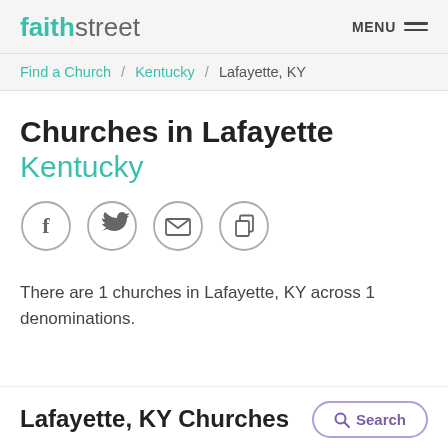faithstreet  MENU
Find a Church / Kentucky / Lafayette, KY
Churches in Lafayette Kentucky
[Figure (infographic): Row of four circular social sharing icons: Facebook (f), Twitter (bird), Email (envelope), Copy (document)]
There are 1 churches in Lafayette, KY across 1 denominations.
Lafayette, KY Churches
Search